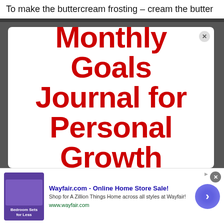To make the buttercream frosting – cream the butter
[Figure (screenshot): A modal popup/advertisement card on a dark gray background showing bold red text on white: 'Monthly Goals Journal for Personal Growth'. There is a close button (X) in the top right corner of the modal card.]
[Figure (infographic): Advertisement banner for Wayfair.com at the bottom of the page. Shows thumbnail of bedroom furniture ad, title 'Wayfair.com - Online Home Store Sale!', description 'Shop for A Zillion Things Home across all styles at Wayfair!', URL 'www.wayfair.com', and a blue circular arrow button. Has a close X button and AdChoices icon.]